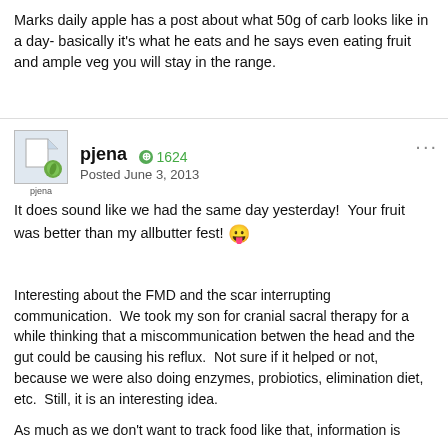Marks daily apple has a post about what 50g of carb looks like in a day- basically it's what he eats and he says even eating fruit and ample veg you will stay in the range.
pjena  1624  Posted June 3, 2013
It does sound like we had the same day yesterday!  Your fruit was better than my allbutter fest! 😛
Interesting about the FMD and the scar interrupting communication.  We took my son for cranial sacral therapy for a while thinking that a miscommunication betwen the head and the gut could be causing his reflux.  Not sure if it helped or not, because we were also doing enzymes, probiotics, elimination diet, etc.  Still, it is an interesting idea.
As much as we don't want to track food like that, information is